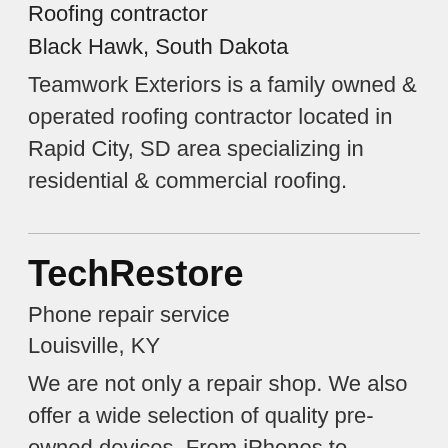Roofing contractor
Black Hawk, South Dakota
Teamwork Exteriors is a family owned & operated roofing contractor located in Rapid City, SD area specializing in residential & commercial roofing.
TechRestore
Phone repair service
Louisville, KY
We are not only a repair shop. We also offer a wide selection of quality pre-owned devices. From iPhones to MacBook Airs, you can take a look at our available pre-owned units and apply for financing if needed.